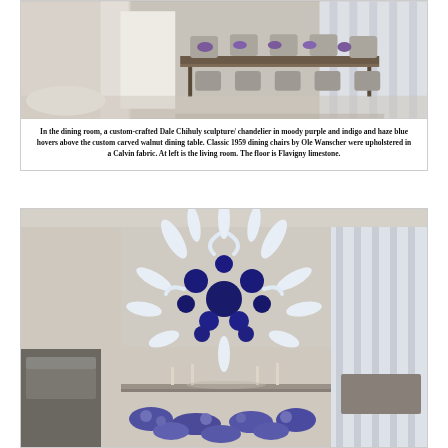[Figure (photo): Interior photo of a modern dining room with a long walnut dining table, upholstered dining chairs, and a white partition wall. The floor is light limestone.]
In the dining room, a custom-crafted Dale Chihuly sculpture/ chandelier in moody purple and indigo and haze blue hovers above the custom carved walnut dining table. Classic 1959 dining chairs by Ole Wanscher were upholstered in a Calvin fabric. At left is the living room. The floor is Flavigny limestone.
[Figure (photo): Close-up photo of a Dale Chihuly blown glass chandelier sculpture in blue and white, hanging above a dining table with purple floral arrangements. The living room is visible in the background.]